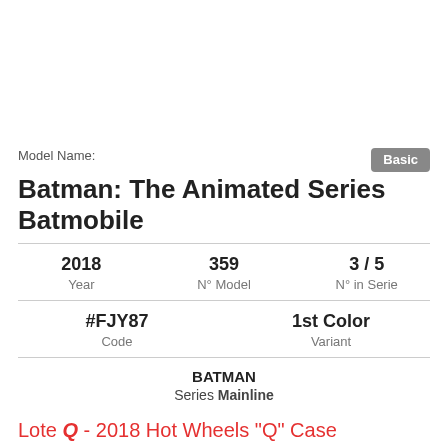Model Name:
Batman: The Animated Series Batmobile
| Year | N° Model | N° in Serie |
| --- | --- | --- |
| 2018 | 359 | 3 / 5 |
| Code | Variant |
| --- | --- |
| #FJY87 | 1st Color |
BATMAN
Series Mainline
Lote Q - 2018 Hot Wheels "Q" Case